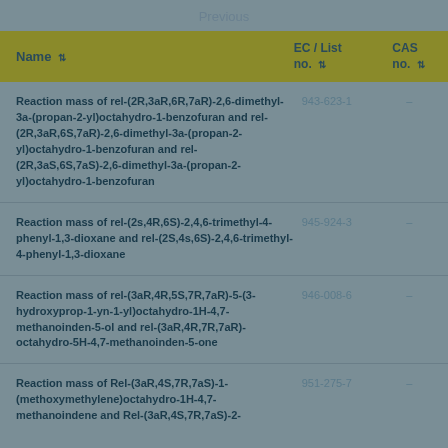Previous
| Name | EC / List no. | CAS no. |
| --- | --- | --- |
| Reaction mass of rel-(2R,3aR,6R,7aR)-2,6-dimethyl-3a-(propan-2-yl)octahydro-1-benzofuran and rel-(2R,3aR,6S,7aR)-2,6-dimethyl-3a-(propan-2-yl)octahydro-1-benzofuran and rel-(2R,3aS,6S,7aS)-2,6-dimethyl-3a-(propan-2-yl)octahydro-1-benzofuran | 943-623-1 | – |
| Reaction mass of rel-(2s,4R,6S)-2,4,6-trimethyl-4-phenyl-1,3-dioxane and rel-(2S,4s,6S)-2,4,6-trimethyl-4-phenyl-1,3-dioxane | 945-924-3 | – |
| Reaction mass of rel-(3aR,4R,5S,7R,7aR)-5-(3-hydroxyprop-1-yn-1-yl)octahydro-1H-4,7-methanoinden-5-ol and rel-(3aR,4R,7R,7aR)-octahydro-5H-4,7-methanoinden-5-one | 946-008-6 | – |
| Reaction mass of Rel-(3aR,4S,7R,7aS)-1-(methoxymethylene)octahydro-1H-4,7-methanoindene and Rel-(3aR,4S,7R,7aS)-2-... | 951-275-7 | – |